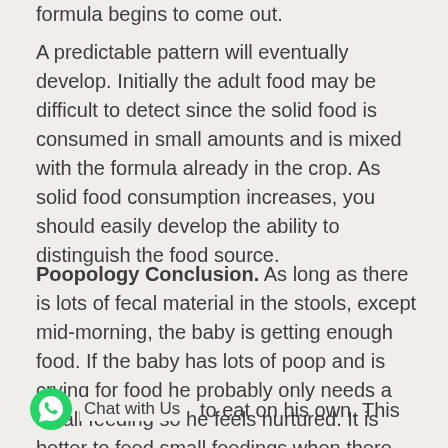formula begins to come out.
A predictable pattern will eventually develop. Initially the adult food may be difficult to detect since the solid food is consumed in small amounts and is mixed with the formula already in the crop. As solid food consumption increases, you should easily develop the ability to distinguish the food source.
Poopology Conclusion. As long as there is lots of fecal material in the stools, except mid-morning, the baby is getting enough food. If the baby has lots of poop and is crying for food he probably only needs a small feeding so he feels nurtured. It is better to feed small feedings when there are a lot of feces and the baby cries. If he cries because he needs mom to nurture him and you feed him a whole feeding he will to eat on his own. This could set up a
[Figure (logo): WhatsApp chat widget with green phone icon and 'Chat with Us' label]